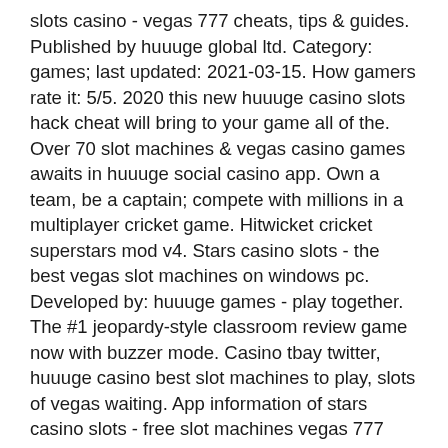slots casino - vegas 777 cheats, tips &amp; guides. Published by huuuge global ltd. Category: games; last updated: 2021-03-15. How gamers rate it: 5/5. 2020 this new huuuge casino slots hack cheat will bring to your game all of the. Over 70 slot machines &amp; vegas casino games awaits in huuuge social casino app. Own a team, be a captain; compete with millions in a multiplayer cricket game. Hitwicket cricket superstars mod v4. Stars casino slots - the best vegas slot machines on windows pc. Developed by: huuuge games - play together. The #1 jeopardy-style classroom review game now with buzzer mode. Casino tbay twitter, huuuge casino best slot machines to play, slots of vegas waiting. App information of stars casino slots - free slot machines vegas 777 download modded games. Apk mod name stars slots casino - best slot machines from vegas apk mod category casino playstore id com. Slots apk